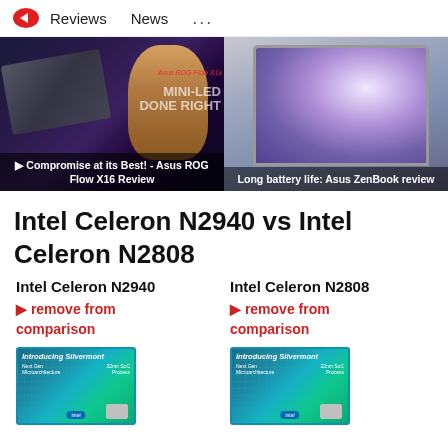Reviews  News  ...
[Figure (screenshot): Thumbnail for video: Compromise at its Best! - Asus ROG Flow X16 Review, showing a person holding a laptop with MINI-LED DONE RIGHT overlay text]
[Figure (photo): Thumbnail: Long battery life: Asus ZenBook review, showing laptop with colorful wallpaper]
Intel Celeron N2940 vs Intel Celeron N2808
Intel Celeron N2940
► remove from comparison
[Figure (photo): Introducing Silvermont - Next Gen Microarchitecture, 22nm SoC Process chip image]
Intel Celeron N2808
► remove from comparison
[Figure (photo): Introducing Silvermont - Next Gen Microarchitecture, 22nm SoC Process chip image]